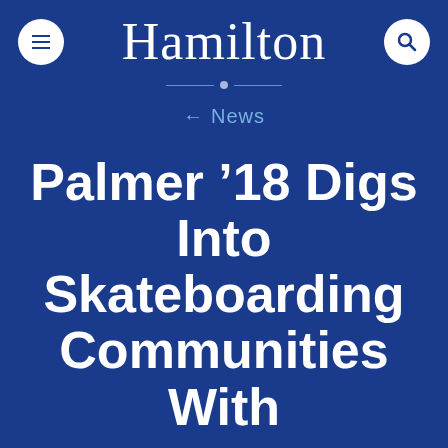Hamilton
← News
Palmer '18 Digs Into Skateboarding Communities With
This website uses cookies to offer you a better browsing experience.
Accept and Continue
Read More / Change Settings